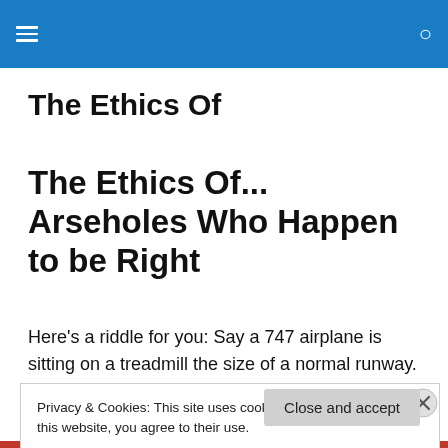The Ethics Of [navigation header with hamburger menu and search icon]
The Ethics Of
The Ethics Of... Arseholes Who Happen to be Right
Here's a riddle for you: Say a 747 airplane is sitting on a treadmill the size of a normal runway. As the airplane
Privacy & Cookies: This site uses cookies. By continuing to use this website, you agree to their use.
To find out more, including how to control cookies, see here: Cookie Policy
Close and accept